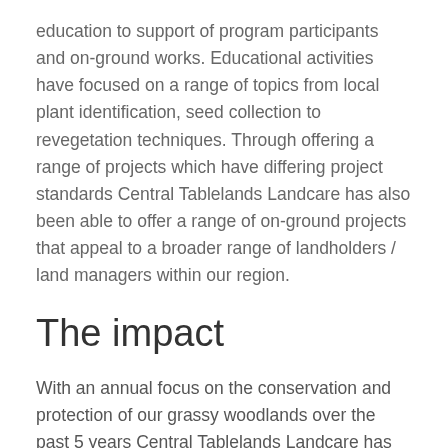education to support of program participants and on-ground works. Educational activities have focused on a range of topics from local plant identification, seed collection to revegetation techniques. Through offering a range of projects which have differing project standards Central Tablelands Landcare has also been able to offer a range of on-ground projects that appeal to a broader range of landholders / land managers within our region.
The impact
With an annual focus on the conservation and protection of our grassy woodlands over the past 5 years Central Tablelands Landcare has achieved impressive project outputs which are summarised below.